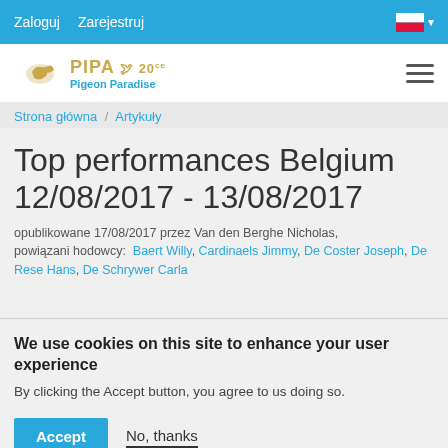Zaloguj   Zarejestruj
[Figure (logo): PIPA Pigeon Paradise logo with bird and 20th anniversary badge]
Strona główna / Artykuły
Top performances Belgium 12/08/2017 - 13/08/2017
opublikowane 17/08/2017 przez Van den Berghe Nicholas, powiązani hodowcy: Baert Willy, Cardinaels Jimmy, De Coster Joseph, De Rese Hans, De Schrywer Carla
We use cookies on this site to enhance your user experience
By clicking the Accept button, you agree to us doing so.
Więcej informacji
Accept   No, thanks